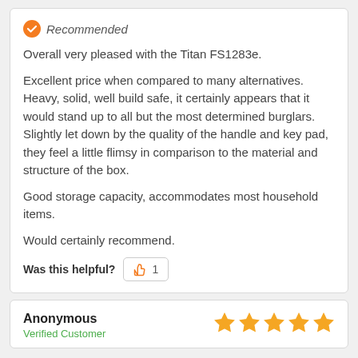Recommended
Overall very pleased with the Titan FS1283e.
Excellent price when compared to many alternatives. Heavy, solid, well build safe, it certainly appears that it would stand up to all but the most determined burglars. Slightly let down by the quality of the handle and key pad, they feel a little flimsy in comparison to the material and structure of the box.
Good storage capacity, accommodates most household items.
Would certainly recommend.
Was this helpful? 1
Anonymous
Verified Customer